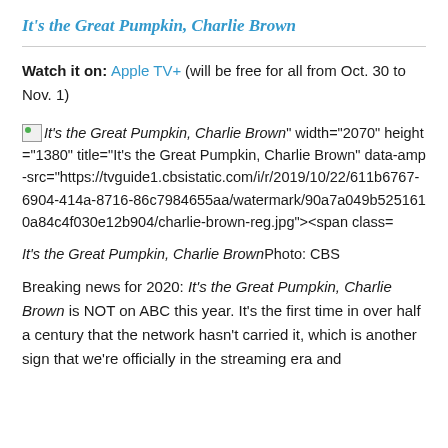It's the Great Pumpkin, Charlie Brown
Watch it on: Apple TV+ (will be free for all from Oct. 30 to Nov. 1)
<em>It's the Great Pumpkin, Charlie Brown</em>" width="2070" height="1380" title="It's the Great Pumpkin, Charlie Brown" data-amp-src="https://tvguide1.cbsistatic.com/i/r/2019/10/22/611b6767-6904-414a-8716-86c7984655aa/watermark/90a7a049b5251610a84c4f030e12b904/charlie-brown-reg.jpg"><span class=
It's the Great Pumpkin, Charlie BrownPhoto: CBS
Breaking news for 2020: It's the Great Pumpkin, Charlie Brown is NOT on ABC this year. It's the first time in over half a century that the network hasn't carried it, which is another sign that we're officially in the streaming era and